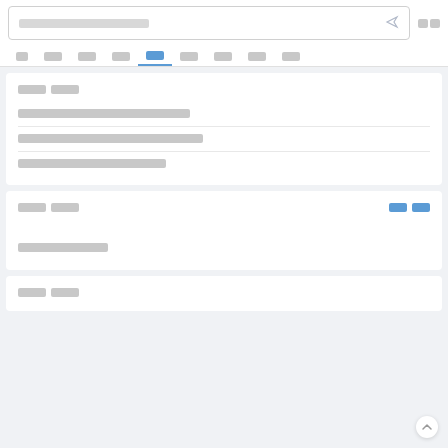[search bar with placeholder text and send icon] [top right button]
[navigation tabs: tab tab tab tab (active) tab tab tab tab tab]
[section title 1]
[long menu item text 1]
[long menu item text 2 - extended text]
[medium menu item text 3]
[section title 2]
[blue link text]
[body text line]
[section title 3]